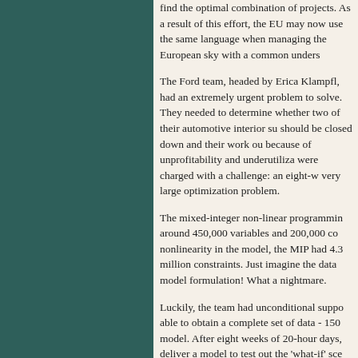find the optimal combination of projects. As a result of this effort, the EU may now use the same language when managing the European sky with a common understanding.
The Ford team, headed by Erica Klampfl, had an extremely urgent problem to solve. They needed to determine whether two of their automotive interior supply enterprises should be closed down and their work outsourced because of unprofitability and underutilization. They were charged with a challenge: an eight-week deadline for a very large optimization problem.
The mixed-integer non-linear programming model had around 450,000 variables and 200,000 constraints. Due to nonlinearity in the model, the MIP had 4.3 billion possible million constraints. Just imagine the data required for model formulation! What a nightmare.
Luckily, the team had unconditional support and was able to obtain a complete set of data - 150 inputs for the model. After eight weeks of 20-hour days, the team could deliver a model to test out the 'what-if' scenarios and remove the subjective decision making that plagues enterprises. As a result, Ford will be able to selectively outsource only a certain percentage of the work with savings of $50 million over five years compared to outsourcing all the work.
These two projects showcased the importance of decision making in business. The winning team, out of all finalists, will be announced Tuesday morning.